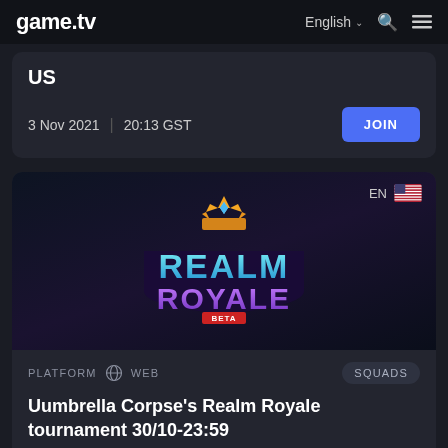game.tv — English
US
3 Nov 2021   20:13 GST   JOIN
[Figure (screenshot): Realm Royale Beta game logo on dark background with US flag and EN label]
PLATFORM  WEB   SQUADS
Uumbrella Corpse's Realm Royale tournament 30/10-23:59